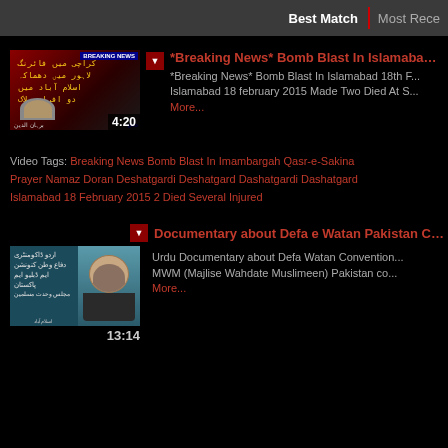Best Match | Most Recent
[Figure (screenshot): Video thumbnail: Breaking News bomb blast in Islamabad, red/dark background with Urdu text in gold, duration 4:20]
*Breaking News* Bomb Blast In Islamabad 18...
*Breaking News* Bomb Blast In Islamabad 18th... Islamabad 18 february 2015 Made Two Died At S... More...
Video Tags: Breaking News Bomb Blast In Imambargah Qasr-e-Sakina... Prayer Namaz Doran Deshatgardi Deshatgard Dashatgardi Dashatgard... Islamabad 18 February 2015 2 Died Several Injured
[Figure (screenshot): Video thumbnail: Documentary about Defa e Watan Pakistan Convention, teal background with Urdu text left, face portrait right, duration 13:14]
Documentary about Defa e Watan Pakistan Co...
Urdu Documentary about Defa Watan Convention... MWM (Majlise Wahdate Muslimeen) Pakistan co... More...